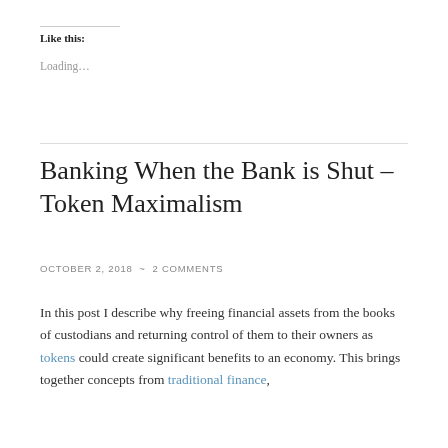Like this:
Loading...
Banking When the Bank is Shut – Token Maximalism
OCTOBER 2, 2018  ~  2 COMMENTS
In this post I describe why freeing financial assets from the books of custodians and returning control of them to their owners as tokens could create significant benefits to an economy. This brings together concepts from traditional finance,